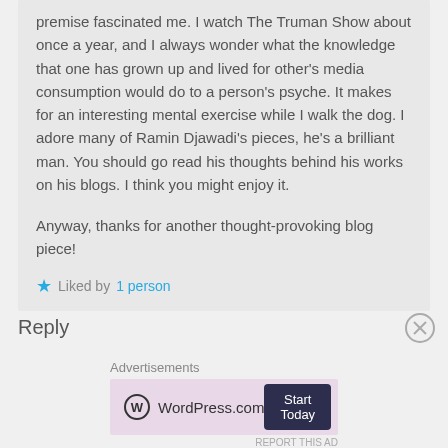premise fascinated me. I watch The Truman Show about once a year, and I always wonder what the knowledge that one has grown up and lived for other's media consumption would do to a person's psyche. It makes for an interesting mental exercise while I walk the dog. I adore many of Ramin Djawadi's pieces, he's a brilliant man. You should go read his thoughts behind his works on his blogs. I think you might enjoy it.

Anyway, thanks for another thought-provoking blog piece!
Liked by 1 person
Reply
Advertisements
[Figure (other): WordPress.com advertisement banner with logo and Start Today button]